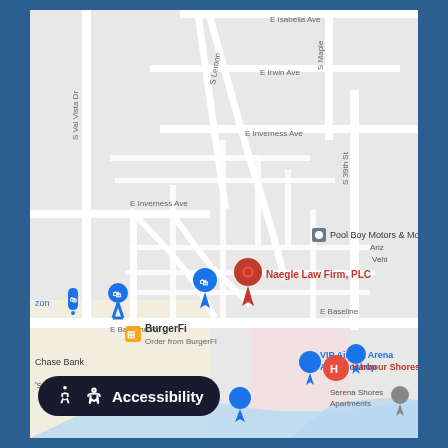[Figure (map): Google Maps screenshot showing the location of Naegle Law Firm, PLC in Mesa/Gilbert, Arizona area. The map shows streets including E Isabella Ave, E Irwin Ave, E Inverness Ave, E Baseline Rd, S Val Vista Dr, S Lemon, S Maple, S 39th St. Nearby businesses include Pool Boy Motors & More, BurgerFi, Chase Bank, VIP Airsoft Arena And Proshop, Harbour Shores, Serena Shores Apartments, Gyoza Bar. A red pin marks Naegle Law Firm, PLC. There is also an Accessibility button at the bottom left.]